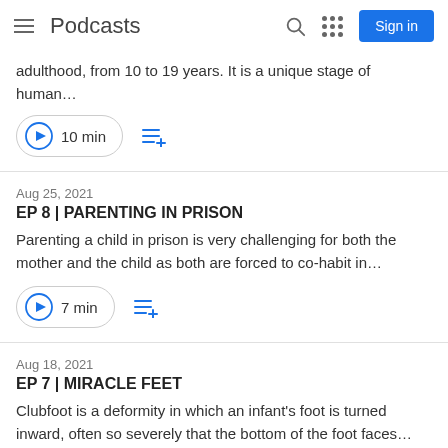Podcasts | Sign in
adulthood, from 10 to 19 years. It is a unique stage of human…
10 min
Aug 25, 2021
EP 8 | PARENTING IN PRISON
Parenting a child in prison is very challenging for both the mother and the child as both are forced to co-habit in…
7 min
Aug 18, 2021
EP 7 | MIRACLE FEET
Clubfoot is a deformity in which an infant's foot is turned inward, often so severely that the bottom of the foot faces…
6 min